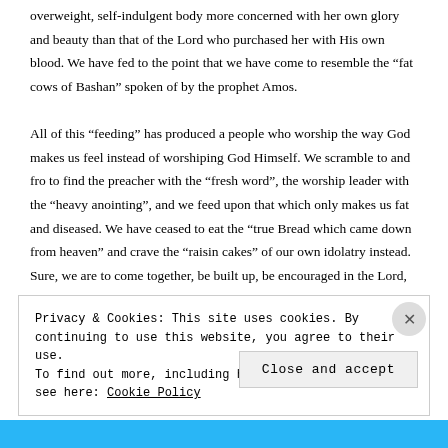overweight, self-indulgent body more concerned with her own glory and beauty than that of the Lord who purchased her with His own blood. We have fed to the point that we have come to resemble the “fat cows of Bashan” spoken of by the prophet Amos.

All of this “feeding” has produced a people who worship the way God makes us feel instead of worshiping God Himself. We scramble to and fro to find the preacher with the “fresh word”, the worship leader with the “heavy anointing”, and we feed upon that which only makes us fat and diseased. We have ceased to eat the “true Bread which came down from heaven” and crave the “raisin cakes” of our own idolatry instead. Sure, we are to come together, be built up, be encouraged in the Lord, exercise our gifts for the building up of the church; but, that’s not where
Privacy & Cookies: This site uses cookies. By continuing to use this website, you agree to their use.
To find out more, including how to control cookies, see here: Cookie Policy
Close and accept